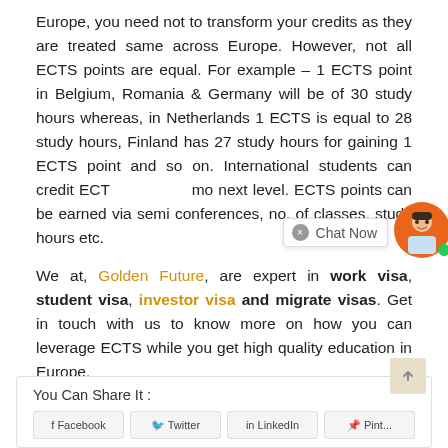Europe, you need not to transform your credits as they are treated same across Europe. However, not all ECTS points are equal. For example – 1 ECTS point in Belgium, Romania & Germany will be of 30 study hours whereas, in Netherlands 1 ECTS is equal to 28 study hours, Finland has 27 study hours for gaining 1 ECTS point and so on. International students can credit ECT mo next level. ECTS points can be earned via semi conferences, no. of classes, study hours etc.
We at, Golden Future, are expert in work visa, student visa, investor visa and migrate visas. Get in touch with us to know more on how you can leverage ECTS while you get high quality education in Europe.
You Can Share It :